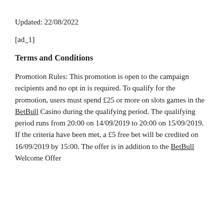Updated: 22/08/2022
[ad_1]
Terms and Conditions
Promotion Rules: This promotion is open to the campaign recipients and no opt in is required. To qualify for the promotion, users must spend £25 or more on slots games in the BetBull Casino during the qualifying period. The qualifying period runs from 20:00 on 14/09/2019 to 20:00 on 15/09/2019. If the criteria have been met, a £5 free bet will be credited on 16/09/2019 by 15:00. The offer is in addition to the BetBull Welcome Offer